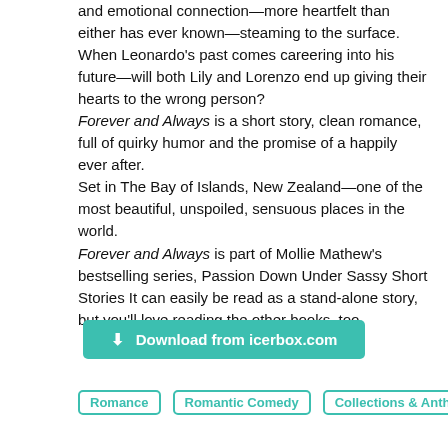and emotional connection—more heartfelt than either has ever known—steaming to the surface. When Leonardo's past comes careering into his future—will both Lily and Lorenzo end up giving their hearts to the wrong person? Forever and Always is a short story, clean romance, full of quirky humor and the promise of a happily ever after. Set in The Bay of Islands, New Zealand—one of the most beautiful, unspoiled, sensuous places in the world. Forever and Always is part of Mollie Mathew's bestselling series, Passion Down Under Sassy Short Stories It can easily be read as a stand-alone story, but you'll love reading the other books, too.
[Figure (other): Download from icerbox.com button (green/teal colored button)]
Romance
Romantic Comedy
Collections & Anthologies